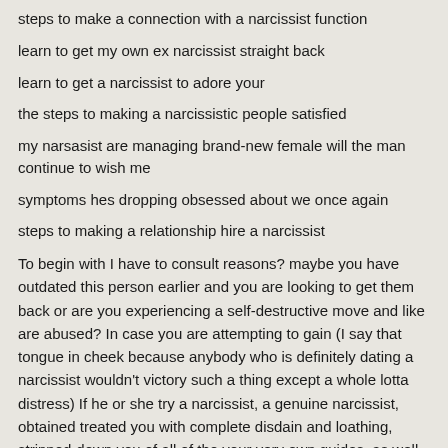steps to make a connection with a narcissist function
learn to get my own ex narcissist straight back
learn to get a narcissist to adore your
the steps to making a narcissistic people satisfied
my narsasist are managing brand-new female will the man continue to wish me
symptoms hes dropping obsessed about we once again
steps to making a relationship hire a narcissist
To begin with I have to consult reasons? maybe you have outdated this person earlier and you are looking to get them back or are you experiencing a self-destructive move and like are abused? In case you are attempting to gain (I say that tongue in cheek because anybody who is definitely dating a narcissist wouldn't victory such a thing except a whole lotta distress) If he or she try a narcissist, a genuine narcissist, obtained treated you with complete disdain and loathing, stripped-down you of all of the your very own guides, as well as your bucks, confidence and self-assurance and you simply decide another supporting of their crap smorgasbord? Thankfully for yourself, relationships with narcissists commonly usually all that